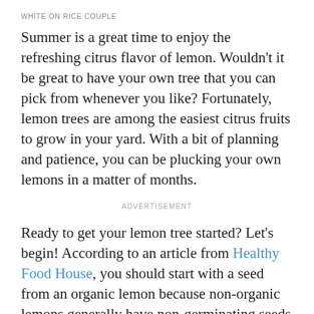WHITE ON RICE COUPLE
Summer is a great time to enjoy the refreshing citrus flavor of lemon. Wouldn't it be great to have your own tree that you can pick from whenever you like? Fortunately, lemon trees are among the easiest citrus fruits to grow in your yard. With a bit of planning and patience, you can be plucking your own lemons in a matter of months.
ADVERTISEMENT
Ready to get your lemon tree started? Let's begin! According to an article from Healthy Food House, you should start with a seed from an organic lemon because non-organic lemons generally have non-germinating seeds which mean your seed will never sprout. You will also need a seedling pot, planting pot, and fertile soil. Make sure that you have an indoor, but sunny space and a